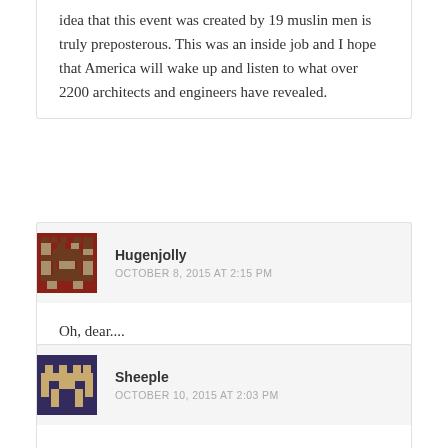idea that this event was created by 19 muslin men is truly preposterous. This was an inside job and I hope that America will wake up and listen to what over 2200 architects and engineers have revealed.
Hugenjolly
OCTOBER 8, 2015 AT 2:15 PM
Oh, dear....
Sheeple
OCTOBER 10, 2015 AT 2:03 PM
You missed this in your comment: “Wake up sheeple!”

You welcome.